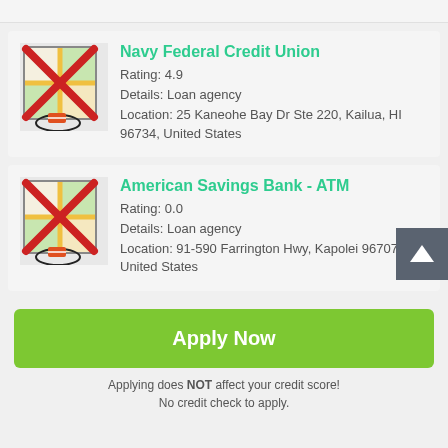[Figure (illustration): Navy Federal Credit Union listing card with map icon crossed out in red X and a location pin with a pencil icon below]
Navy Federal Credit Union
Rating: 4.9
Details: Loan agency
Location: 25 Kaneohe Bay Dr Ste 220, Kailua, HI 96734, United States
[Figure (illustration): American Savings Bank - ATM listing card with map icon crossed out in red X and a location pin with a pencil icon below]
American Savings Bank - ATM
Rating: 0.0
Details: Loan agency
Location: 91-590 Farrington Hwy, Kapolei 96707, United States
Apply Now
Applying does NOT affect your credit score!
No credit check to apply.